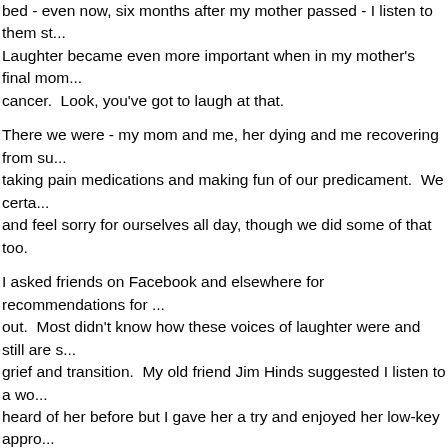bed - even now, six months after my mother passed - I listen to them st... Laughter became even more important when in my mother's final mo... cancer.  Look, you've got to laugh at that.
There we were - my mom and me, her dying and me recovering from su... taking pain medications and making fun of our predicament.  We certa... and feel sorry for ourselves all day, though we did some of that too.
I asked friends on Facebook and elsewhere for recommendations for ... out.  Most didn't know how these voices of laughter were and still are s... grief and transition.  My old friend Jim Hinds suggested I listen to a wo... heard of her before but I gave her a try and enjoyed her low-key appr... at her stories.
Tig Notaro is in the news a lot now because of a recent set she did just... shortly after her mother tragically died and she went through a breaku...
She jokes:
"God never gives you more than you can handle. Never.  Neve... God goes alright, that's it.  I just keep picturing God going: you... can take a little more..."
"Why, God, Why?...God is insane...If there at all."